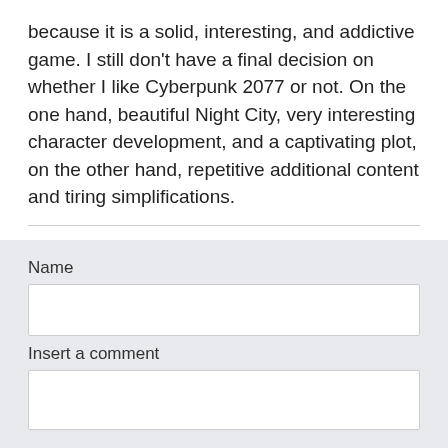because it is a solid, interesting, and addictive game. I still don't have a final decision on whether I like Cyberpunk 2077 or not. On the one hand, beautiful Night City, very interesting character development, and a captivating plot, on the other hand, repetitive additional content and tiring simplifications.
Posted on 2022-06-20 08:50:01
Name
Insert a comment